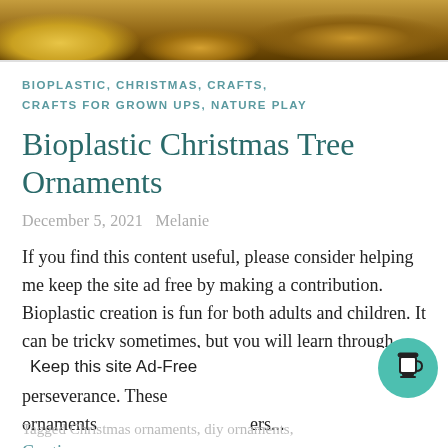[Figure (photo): Top portion of an image showing natural materials including what appears to be orange/yellow slices and spices like cinnamon sticks on a light background]
BIOPLASTIC, CHRISTMAS, CRAFTS, CRAFTS FOR GROWN UPS, NATURE PLAY
Bioplastic Christmas Tree Ornaments
December 5, 2021   Melanie
If you find this content useful, please consider helping me keep the site ad free by making a contribution. Bioplastic creation is fun for both adults and children. It can be tricky sometimes, but you will learn through your mishaps with a bit of experimentation and perseverance. These ornaments                                              ers...
Continue re
Keep this site Ad-Free
Tagged Christmas ornaments, diy ornaments,